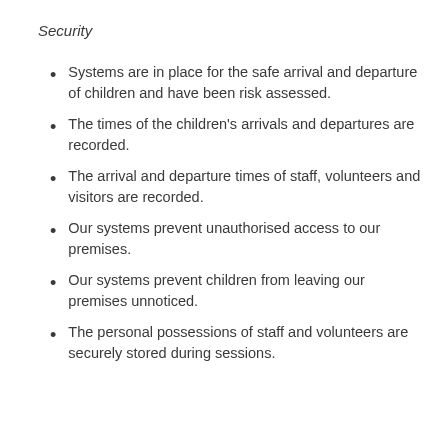Security
Systems are in place for the safe arrival and departure of children and have been risk assessed.
The times of the children's arrivals and departures are recorded.
The arrival and departure times of staff, volunteers and visitors are recorded.
Our systems prevent unauthorised access to our premises.
Our systems prevent children from leaving our premises unnoticed.
The personal possessions of staff and volunteers are securely stored during sessions.